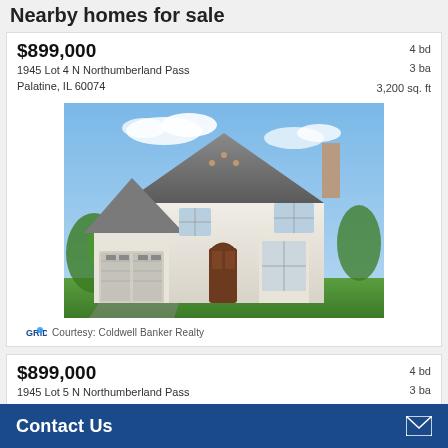Nearby homes for sale
$899,000
1945 Lot 4 N Northumberland Pass
Palatine, IL 60074
4 bd  3 ba  3,200 sq. ft
[Figure (photo): Exterior photo of a large two-story white stucco home with a steep gray roof, double garage, arched wooden front door, and multiple bay windows, under a blue sky.]
Courtesy: Coldwell Banker Realty
$899,000
1945 Lot 5 N Northumberland Pass
Palatine, IL 60074
4 bd  3 ba  3,200 sq. ft
[Figure (photo): Partial exterior photo of a house rooftop visible at the bottom of the page, under a bright blue sky.]
Contact Us